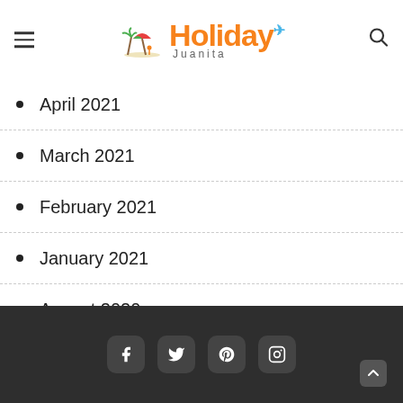Holiday Juanita
April 2021
March 2021
February 2021
January 2021
August 2020
June 2020
February 2020
Social icons: Facebook, Twitter, Pinterest, Instagram